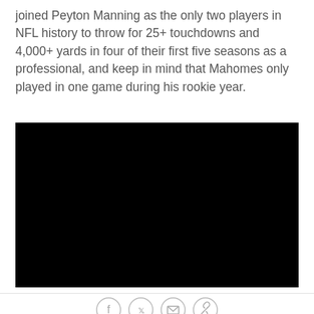joined Peyton Manning as the only two players in NFL history to throw for 25+ touchdowns and 4,000+ yards in four of their first five seasons as a professional, and keep in mind that Mahomes only played in one game during his rookie year.
[Figure (other): A black video player embed area]
[Figure (other): Social sharing icons: Facebook, Twitter, Email, Link/Copy]